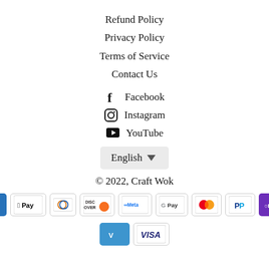Refund Policy
Privacy Policy
Terms of Service
Contact Us
Facebook
Instagram
YouTube
English ▾
© 2022, Craft Wok
[Figure (infographic): Payment method icons: American Express, Apple Pay, Diners Club, Discover, Meta Pay, Google Pay, Mastercard, PayPal, Shop Pay, Venmo, Visa]